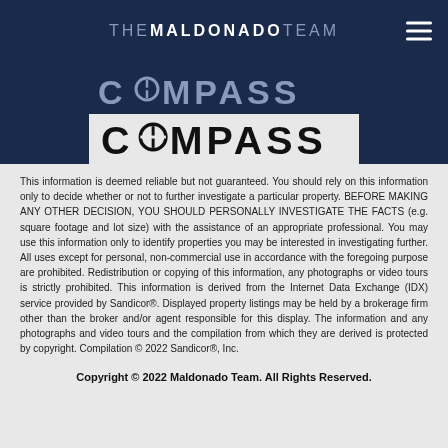THE MALDONADO TEAM
[Figure (logo): Compass real estate logo shown twice — once in muted blue/grey on dark navy background, once in bold black on light grey background]
This information is deemed reliable but not guaranteed. You should rely on this information only to decide whether or not to further investigate a particular property. BEFORE MAKING ANY OTHER DECISION, YOU SHOULD PERSONALLY INVESTIGATE THE FACTS (e.g. square footage and lot size) with the assistance of an appropriate professional. You may use this information only to identify properties you may be interested in investigating further. All uses except for personal, non-commercial use in accordance with the foregoing purpose are prohibited. Redistribution or copying of this information, any photographs or video tours is strictly prohibited. This information is derived from the Internet Data Exchange (IDX) service provided by Sandicor®. Displayed property listings may be held by a brokerage firm other than the broker and/or agent responsible for this display. The information and any photographs and video tours and the compilation from which they are derived is protected by copyright. Compilation © 2022 Sandicor®, Inc.
Copyright © 2022 Maldonado Team. All Rights Reserved.